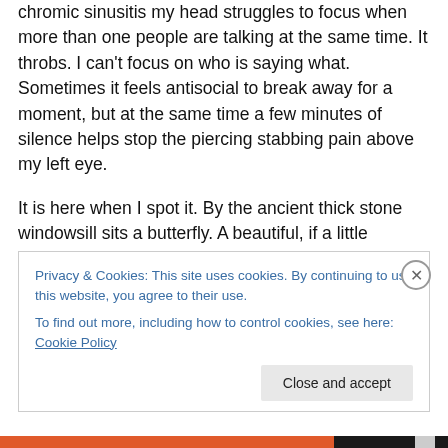chromic sinusitis my head struggles to focus when more than one people are talking at the same time. It throbs. I can't focus on who is saying what. Sometimes it feels antisocial to break away for a moment, but at the same time a few minutes of silence helps stop the piercing stabbing pain above my left eye.
It is here when I spot it. By the ancient thick stone windowsill sits a butterfly. A beautiful, if a little battered looking, tortoise shell butterfly. A butterfly here on Christmas Eve!
Privacy & Cookies: This site uses cookies. By continuing to use this website, you agree to their use.
To find out more, including how to control cookies, see here: Cookie Policy